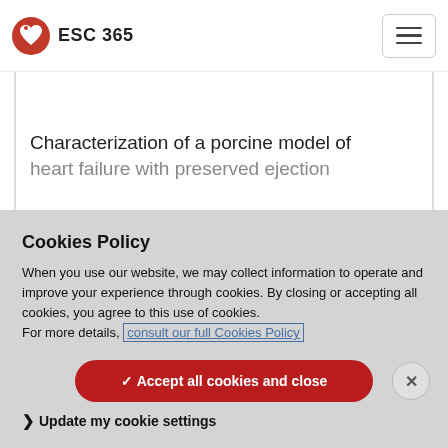ESC 365
Characterization of a porcine model of heart failure with preserved ejection
Cookies Policy
When you use our website, we may collect information to operate and improve your experience through cookies. By closing or accepting all cookies, you agree to this use of cookies.
For more details, consult our full Cookies Policy
✓ Accept all cookies and close
❯ Update my cookie settings